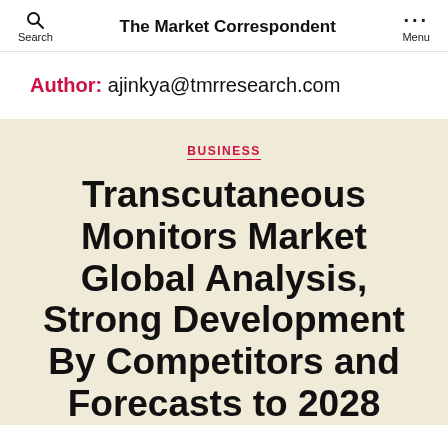The Market Correspondent
Author: ajinkya@tmrresearch.com
BUSINESS
Transcutaneous Monitors Market Global Analysis, Strong Development By Competitors and Forecasts to 2028